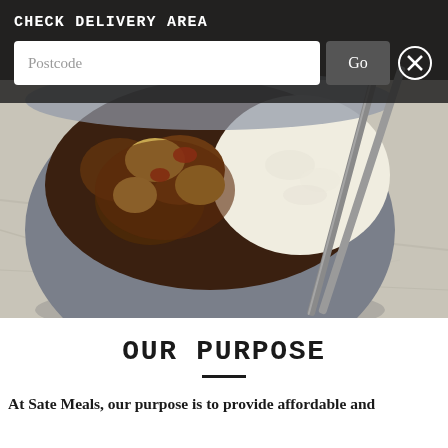CHECK DELIVERY AREA
[Figure (photo): A grey bowl filled with meat stew/curry served over white rice, with metal chopsticks resting on the right side, placed on a white marble or stone surface.]
OUR PURPOSE
At Sate Meals, our purpose is to provide affordable and